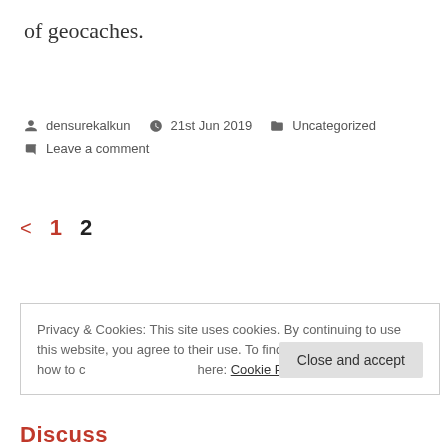of geocaches.
densurekalkun   21st Jun 2019   Uncategorized   Leave a comment
< 1 2
Privacy & Cookies: This site uses cookies. By continuing to use this website, you agree to their use. To find out more, including how to control cookies, see here: Cookie Policy
Close and accept
Discuss